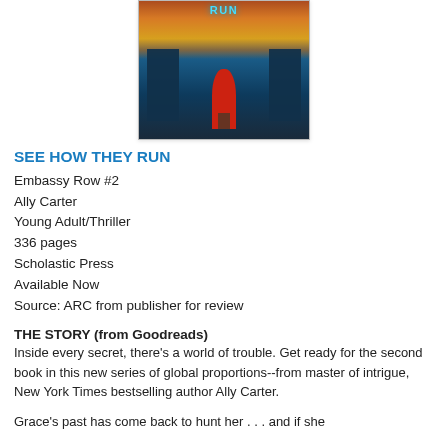[Figure (illustration): Book cover for 'See How They Run' — Embassy Row #2 by Ally Carter. Shows a girl in a red dress walking toward the viewer with a burning building in the background and a blue/teal title treatment at the top.]
SEE HOW THEY RUN
Embassy Row #2
Ally Carter
Young Adult/Thriller
336 pages
Scholastic Press
Available Now
Source: ARC from publisher for review
THE STORY (from Goodreads)
Inside every secret, there's a world of trouble. Get ready for the second book in this new series of global proportions--from master of intrigue, New York Times bestselling author Ally Carter.
Grace's past has come back to hunt her . . . and if she